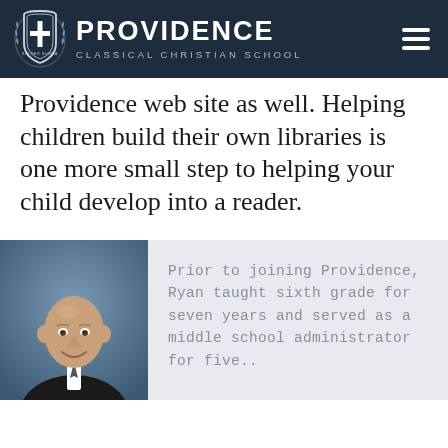PROVIDENCE CLASSICAL CHRISTIAN SCHOOL
Providence web site as well. Helping children build their own libraries is one more small step to helping your child develop into a reader.
[Figure (photo): Headshot of a bald man in a dark suit and tie, smiling, against a blue-grey background.]
Prior to joining Providence, Ryan taught sixth grade for seven years and served as a middle school administrator for five..